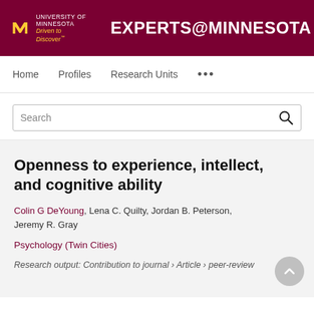University of Minnesota – Driven to Discover® | EXPERTS@MINNESOTA
Home   Profiles   Research Units   ...
Openness to experience, intellect, and cognitive ability
Colin G DeYoung, Lena C. Quilty, Jordan B. Peterson, Jeremy R. Gray
Psychology (Twin Cities)
Research output: Contribution to journal › Article › peer-review